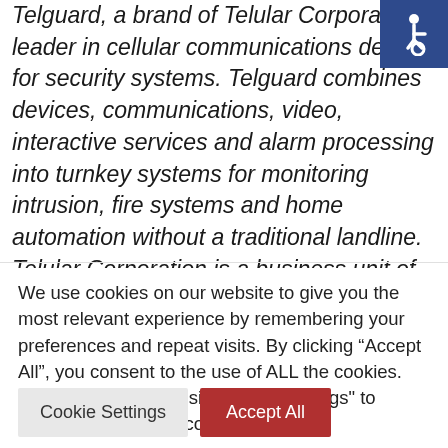Telguard, a brand of Telular Corporation, is leader in cellular communications devices for security systems. Telguard combines devices, communications, video, interactive services and alarm processing into turnkey systems for monitoring intrusion, fire systems and home automation without a traditional landline. Telular Corporation is a business unit of AMETEK Inc. AMETEK Inc.
[Figure (illustration): Accessibility icon (wheelchair symbol) in white on dark blue background, positioned top-right corner]
We use cookies on our website to give you the most relevant experience by remembering your preferences and repeat visits. By clicking “Accept All”, you consent to the use of ALL the cookies. However, you may visit "Cookie Settings" to provide a controlled consent.